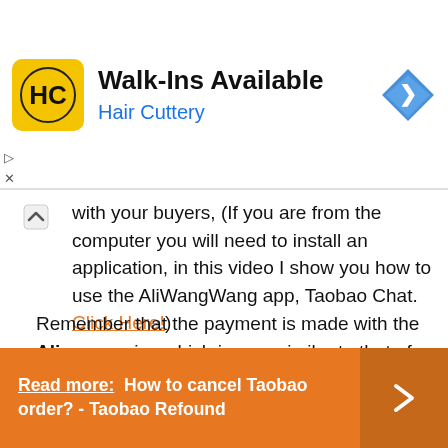[Figure (screenshot): Advertisement banner for Hair Cuttery showing logo, 'Walk-Ins Available' text, and a navigation arrow icon]
with your buyers, (If you are from the computer you will need to install an application, in this video I show you how to use the AliWangWang app, Taobao Chat. Click Here!)
Remember that the payment is made with the Alipay service which is very similar to that of Paypal; Alipay is the payment processor par excellence in the Asian continent.
Read more:  How to cancel Taobao order? - Taobao Refound